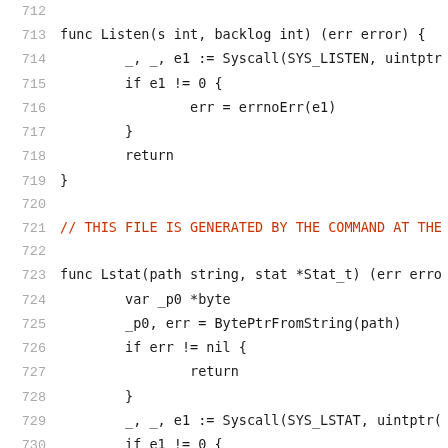712
713  func Listen(s int, backlog int) (err error) {
714       _, _, e1 := Syscall(SYS_LISTEN, uintptr
715       if e1 != 0 {
716            err = errnoErr(e1)
717       }
718       return
719  }
720
721  // THIS FILE IS GENERATED BY THE COMMAND AT THE
722
723  func Lstat(path string, stat *Stat_t) (err erro
724       var _p0 *byte
725       _p0, err = BytePtrFromString(path)
726       if err != nil {
727            return
728       }
729       _, _, e1 := Syscall(SYS_LSTAT, uintptr(
730       if e1 != 0 {
731            err = errnoErr(e1)
732       }
733       return